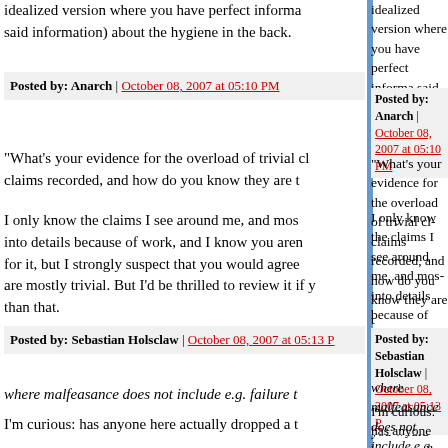idealized version where you have perfect informa- said information) about the hygiene in the back.
Posted by: Anarch | October 08, 2007 at 05:10 PM
"What's your evidence for the overload of trivial cl- claims recorded, and how do you know they are t-
I only know the claims I see around me, and mos- into details because of work, and I know you aren- for it, but I strongly suspect that you would agree are mostly trivial. But I'd be thrilled to review it if y- than that.
Posted by: Sebastian Holsclaw | October 08, 2007 at 05:13 P-
where malfeasance does not include e.g. failure t-
I'm curious: has anyone here actually dropped a t- points if you survived the experience!] I know all t- whatnot, but I've never really been convinced it's
...not that I'm going to try it myself or anything, jus-
Posted by: Anarch | October 08, 2007 at 05:13 PM